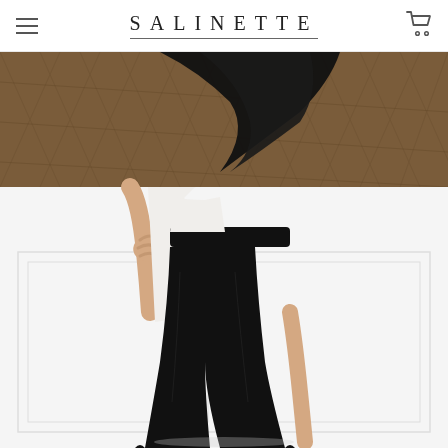SALINETTE
[Figure (photo): Fashion e-commerce product page for Salinette brand. The header shows a hamburger menu icon on the left, the brand name 'SALINETTE' in large spaced serif lettering with an underline in the center, and a shopping cart icon on the right. Below is a product photo of a woman wearing black high-waisted flare/bootcut trousers and a white top, posed against a white paneled wall. The top portion of the image shows a wooden herringbone floor with a black fabric/scarf draped over a surface.]